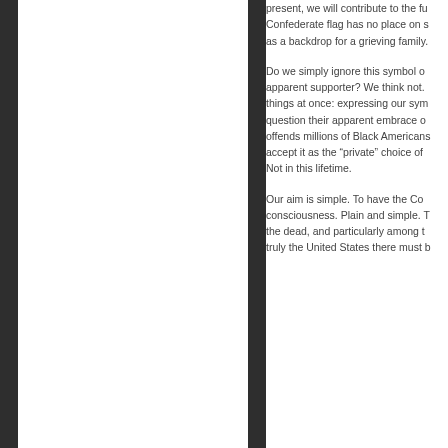present, we will contribute to the fu... Confederate flag has no place on s... as a backdrop for a grieving family.
Do we simply ignore this symbol o... apparent supporter? We think not. ... things at once: expressing our sym... question their apparent embrace o... offends millions of Black Americans... accept it as the "private" choice of... Not in this lifetime.
Our aim is simple. To have the Co... consciousness. Plain and simple. T... the dead, and particularly among t... truly the United States there must b...